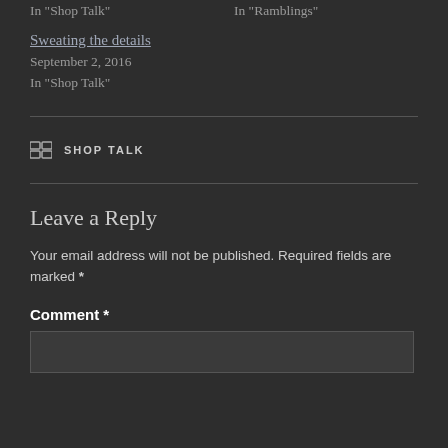In "Shop Talk"
In "Ramblings"
Sweating the details
September 2, 2016
In "Shop Talk"
CATEGORIES: SHOP TALK
Leave a Reply
Your email address will not be published. Required fields are marked *
Comment *